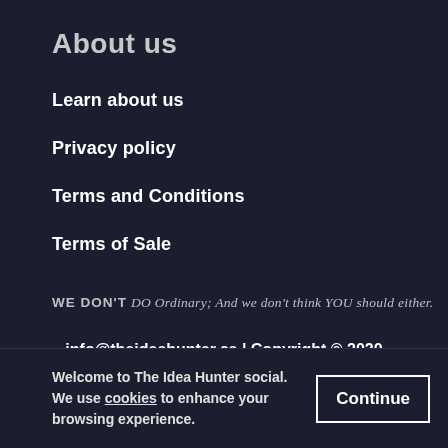About us
Learn about us
Privacy policy
Terms and Conditions
Terms of Sale
WE DON'T DO Ordinary; And we don't think YOU should either.
info@theideahunter.ca | Copyright © 2020 The Idea Hunter | Toronto, Ontario
Welcome to The Idea Hunter social. We use cookies to enhance your browsing experience.